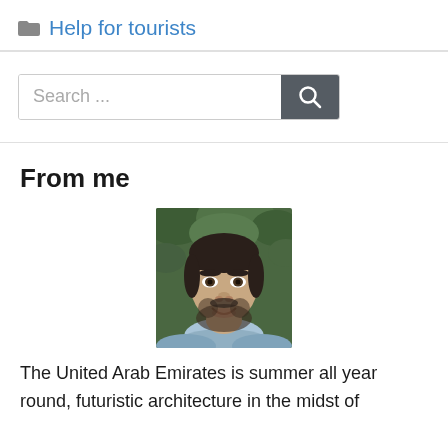Help for tourists
[Figure (screenshot): Search bar with text input field showing placeholder 'Search ...' and a dark gray search button with magnifying glass icon]
From me
[Figure (photo): Portrait photo of a man with short dark hair and beard, smiling, wearing a blue shirt, with green foliage in background]
The United Arab Emirates is summer all year round, futuristic architecture in the midst of